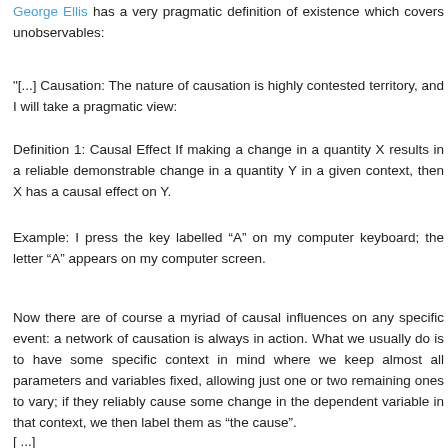George Ellis has a very pragmatic definition of existence which covers unobservables:
"[...] Causation: The nature of causation is highly contested territory, and I will take a pragmatic view:
Definition 1: Causal Effect If making a change in a quantity X results in a reliable demonstrable change in a quantity Y in a given context, then X has a causal effect on Y.
Example: I press the key labelled “A” on my computer keyboard; the letter “A” appears on my computer screen.
Now there are of course a myriad of causal influences on any specific event: a network of causation is always in action. What we usually do is to have some specific context in mind where we keep almost all parameters and variables fixed, allowing just one or two remaining ones to vary; if they reliably cause some change in the dependent variable in that context, we then label them as “the cause”.
[ ...]